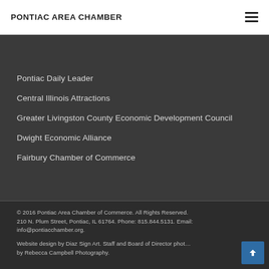PONTIAC AREA CHAMBER
Pontiac Daily Leader
Central Illinois Attractions
Greater Livingston County Economic Development Council
Dwight Economic Alliance
Fairbury Chamber of Commerce
© 2016 Pontiac Area Chamber of Commerce. All Rights Reserved. 210 N. Plum Street, Pontiac, IL 61764. Phone: 815.844.5131. Email: info@pontiacchamber.org.
Website design by Diaz Sign Art. Staff and Board of Director photos by Rebecca Campbell Photography.